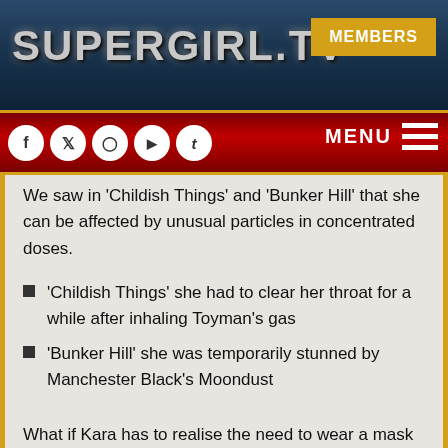SUPERGIRL.TV
MEMBERS
MENU
We saw in 'Childish Things' and 'Bunker Hill' that she can be affected by unusual particles in concentrated doses.
'Childish Things' she had to clear her throat for a while after inhaling Toyman's gas
'Bunker Hill' she was temporarily stunned by Manchester Black's Moondust
What if Kara has to realise the need to wear a mask when rescuing people, especially if the reason she